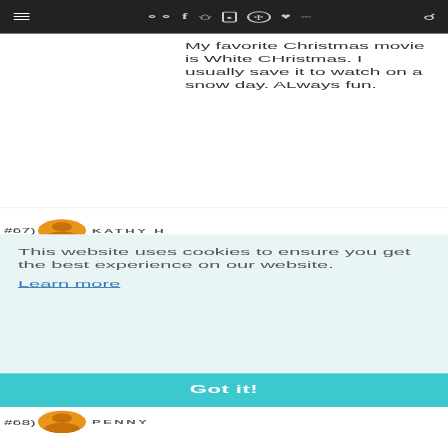≡  speech-bubble icons  f  twitter  instagram  pinterest  heart  rss  search
My favorite Christmas movie is White CHristmas. I usually save it to watch on a snow day. ALways fun.
Reply
#67)  KATHY H
This website uses cookies to ensure you get the best experience on our website.
Learn more
Got it!
#68)  PENNY